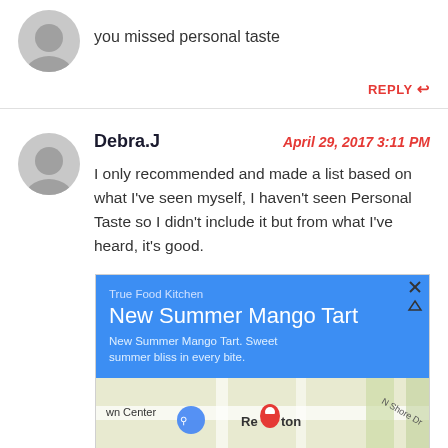you missed personal taste
REPLY ↩
Debra.J
April 29, 2017 3:11 PM
I only recommended and made a list based on what I've seen myself, I haven't seen Personal Taste so I didn't include it but from what I've heard, it's good.
[Figure (screenshot): Advertisement for True Food Kitchen promoting 'New Summer Mango Tart. Sweet summer bliss in every bite.' with a Google Maps view showing location near 'wn Center' and 'Renton'.]